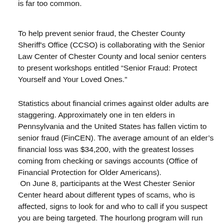is far too common.
To help prevent senior fraud, the Chester County Sheriff's Office (CCSO) is collaborating with the Senior Law Center of Chester County and local senior centers to present workshops entitled “Senior Fraud: Protect Yourself and Your Loved Ones.”
Statistics about financial crimes against older adults are staggering. Approximately one in ten elders in Pennsylvania and the United States has fallen victim to senior fraud (FinCEN). The average amount of an elder’s financial loss was $34,200, with the greatest losses coming from checking or savings accounts (Office of Financial Protection for Older Americans).
On June 8, participants at the West Chester Senior Center heard about different types of scams, who is affected, signs to look for and who to call if you suspect you are being targeted. The hourlong program will run again on June 14, 10:30 a.m. at Brandywine Valley Active Aging (BVAA) Downingtown Senior Center and